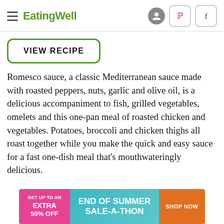EatingWell
VIEW RECIPE
Romesco sauce, a classic Mediterranean sauce made with roasted peppers, nuts, garlic and olive oil, is a delicious accompaniment to fish, grilled vegetables, omelets and this one-pan meal of roasted chicken and vegetables. Potatoes, broccoli and chicken thighs all roast together while you make the quick and easy sauce for a fast one-dish meal that's mouthwateringly delicious.
[Figure (infographic): Advertisement banner: GET UP TO AN EXTRA 50% OFF | END OF SUMMER SALE-A-THON | SHOP NOW]